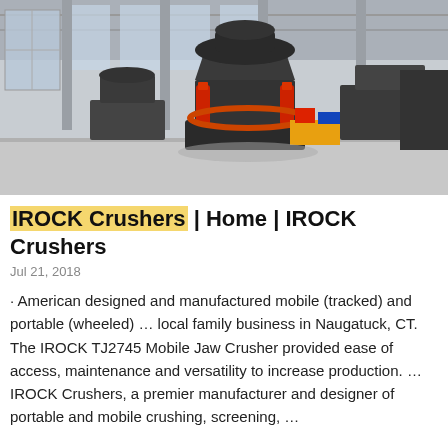[Figure (photo): Industrial cone crushers displayed on a factory floor inside a large warehouse with high windows and concrete pillars. The machines are large, dark grey, with red hydraulic cylinders and orange accents.]
IROCK Crushers | Home | IROCK Crushers
Jul 21, 2018
· American designed and manufactured mobile (tracked) and portable (wheeled) … local family business in Naugatuck, CT. The IROCK TJ2745 Mobile Jaw Crusher provided ease of access, maintenance and versatility to increase production. … IROCK Crushers, a premier manufacturer and designer of portable and mobile crushing, screening, …